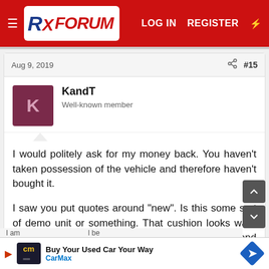RX FORUM  LOG IN  REGISTER
Aug 9, 2019  #15
KandT
Well-known member
I would politely ask for my money back.  You haven't taken possession of the vehicle and therefore haven't bought it.
I saw you put quotes around "new".  Is this some sort of demo unit or something.  That cushion looks warn hard.  like it was taken from show to show and everyone at that show sat on it.
[Figure (screenshot): CarMax advertisement banner: Buy Your Used Car Your Way - CarMax]